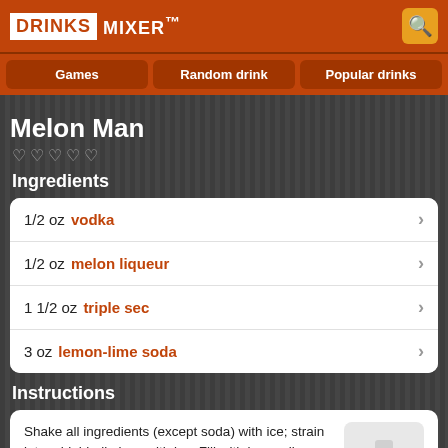DRINKS MIXER™
Games
Random drink
Popular drinks
Melon Man
Ingredients
1/2 oz  vodka
1/2 oz  melon liqueur
1 1/2 oz  triple sec
3 oz  lemon-lime soda
Instructions
Shake all ingredients (except soda) with ice; strain into a highball glass with ice. Fill with lemon-lime soda.